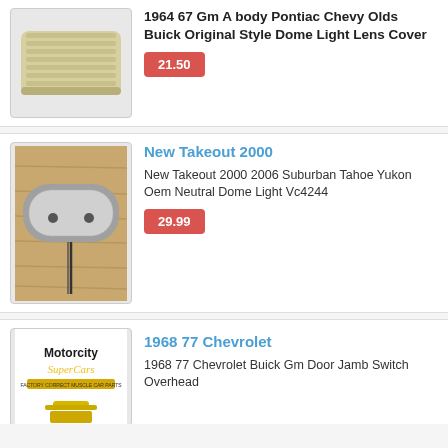[Figure (photo): Photo of a beige/cream colored dome light lens cover for 1964-67 GM A body vehicles]
1964 67 Gm A body Pontiac Chevy Olds Buick Original Style Dome Light Lens Cover
21.50
[Figure (photo): Photo of a gray neutral dome light assembly for 2000-2006 Suburban Tahoe Yukon]
New Takeout 2000
New Takeout 2000 2006 Suburban Tahoe Yukon Oem Neutral Dome Light Vc4244
29.99
[Figure (logo): Motorcity SuperCars logo with yellow text and branding for factory correct muscle car parts, with a partial view of a product below]
1968 77 Chevrolet
1968 77 Chevrolet Buick Gm Door Jamb Switch Overhead